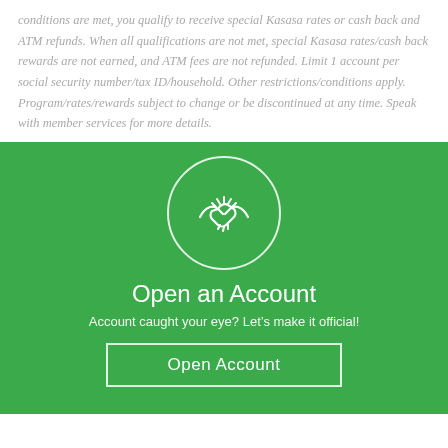conditions are met, you qualify to receive special Kasasa rates or cash back and ATM refunds. When all qualifications are not met, special Kasasa rates/cash back rewards are not earned, and ATM fees are not refunded. Limit 1 account per social security number/tax ID/household. Other restrictions/conditions apply. Program/rates/rewards subject to change or be discontinued at any time. Speak with member services for more details.
[Figure (illustration): White handshake icon inside a white circle outline on a green background]
Open an Account
Account caught your eye? Let’s make it official!
Open Account